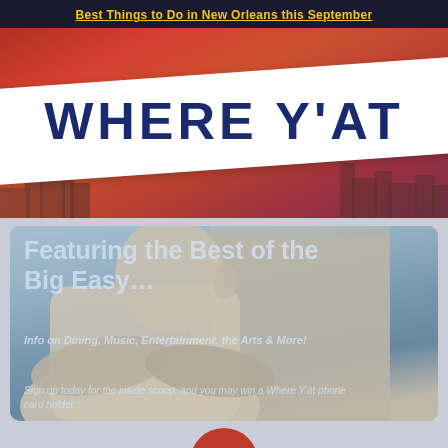Best Things to Do in New Orleans this September
WHERE Y'AT
[Figure (photo): Stone statue of a figure (MLK memorial style) with arms crossed, set against a blue-grey sky background. Overlaid with semi-transparent text.]
Featuring the Best of the Big Easy...
Info on Dining, Music, Entertainment, the Arts & More!
Sign up today for the inside scoop, and you may win a Where Y'at phone card holder...
[Figure (other): Red circular hamburger/menu button icon with three white horizontal lines]